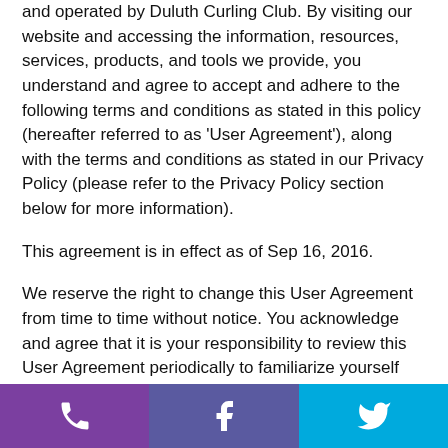and operated by Duluth Curling Club. By visiting our website and accessing the information, resources, services, products, and tools we provide, you understand and agree to accept and adhere to the following terms and conditions as stated in this policy (hereafter referred to as 'User Agreement'), along with the terms and conditions as stated in our Privacy Policy (please refer to the Privacy Policy section below for more information).
This agreement is in effect as of Sep 16, 2016.
We reserve the right to change this User Agreement from time to time without notice. You acknowledge and agree that it is your responsibility to review this User Agreement periodically to familiarize yourself with any modifications. Your continued use of this site after such modifications will constitute acknowledgment and agreement of the modified terms and conditions.
[Figure (other): Footer bar with three social/contact icons: phone (purple), Facebook (purple-blue), Twitter (cyan)]